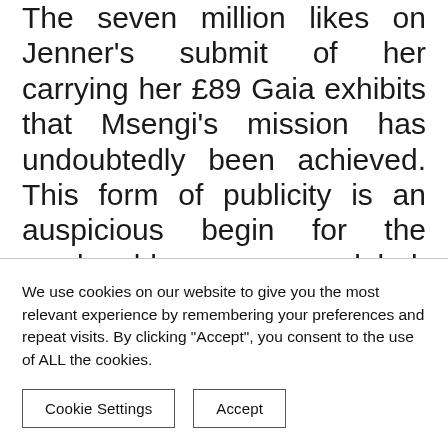The seven million likes on Jenner's submit of her carrying her £89 Gaia exhibits that Msengi's mission has undoubtedly been achieved. This form of publicity is an auspicious begin for the weeks-old womenswear label, which majors in vibrant patterned mini clothes, playsuits and bikinis. "It's nonetheless my little child," says Msengi, who discovered stitching from her grandmother Farai Angeline Tapedza, who the label is known as after. "She used to promote hand-knitted jumpers and clothes when she was my age, travelling from Zimbabwe, my house notion, to South Africa to promote them."
We use cookies on our website to give you the most relevant experience by remembering your preferences and repeat visits. By clicking "Accept", you consent to the use of ALL the cookies.